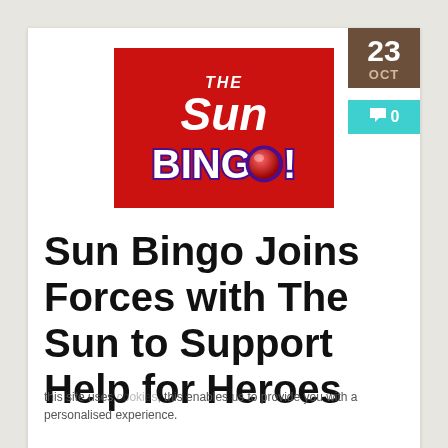[Figure (logo): The Sun Bingo logo — white 'THE' text above large white 'Sun' text in italic style, with 'BINGO!' in bold white and purple lettering with a red 3D bingo ball replacing the 'O', all on a red background square]
23 OCT  💬 0
Sun Bingo Joins Forces with The Sun to Support Help for Heroes
this site uses cookies, this enables us to provide you with a personalised experience.